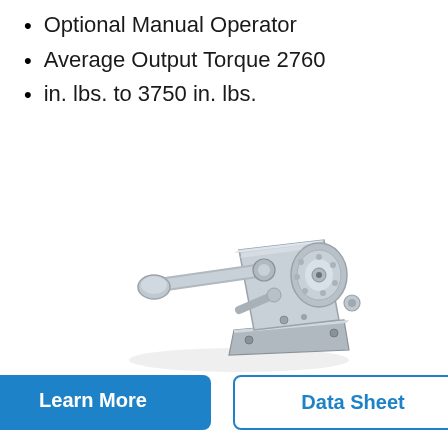Optional Manual Operator
Average Output Torque 2760
in. lbs. to 3750 in. lbs.
[Figure (photo): A silver metallic manual gear operator / handwheel valve actuator device, shown at an angle. It has a lever handle on the left and a mounting bracket on the right with gear mechanism visible.]
Learn More
Data Sheet